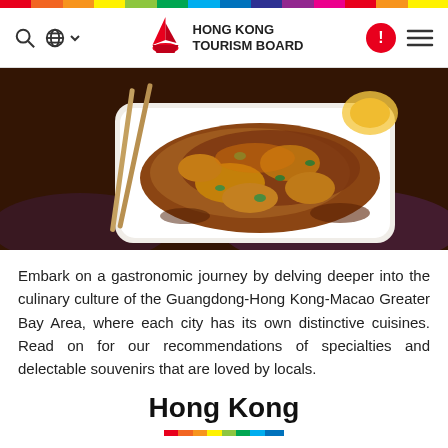Hong Kong Tourism Board
[Figure (photo): A plate of Chinese stir-fried food with sauce, garnished with green onions, with chopsticks in the background on a dark wooden surface]
Embark on a gastronomic journey by delving deeper into the culinary culture of the Guangdong-Hong Kong-Macao Greater Bay Area, where each city has its own distinctive cuisines. Read on for our recommendations of specialties and delectable souvenirs that are loved by locals.
Hong Kong